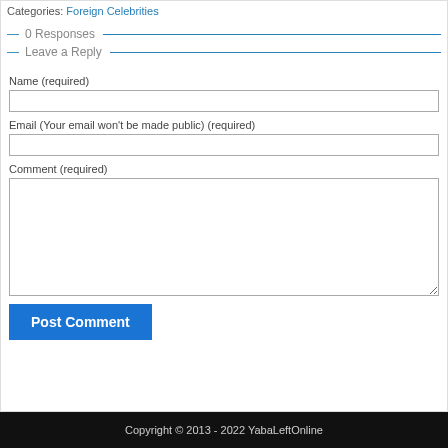Categories: Foreign Celebrities
0 Responses
Leave a Reply
Name (required)
Email (Your email won't be made public) (required)
Comment (required)
Post Comment
Copyright © 2013 - 2022 YabaLeftOnline